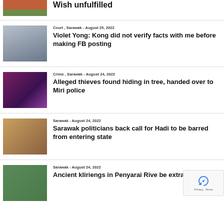[Figure (photo): Partial view of person in red/orange top on grass background]
Wish unfulfilled
[Figure (photo): People in formal attire in a corridor or hallway]
Court , Sarawak - August 25, 2022
Violet Yong: Kong did not verify facts with me before making FB posting
[Figure (photo): Abstract colorful image, possibly crime scene or digital art]
Crime , Sarawak - August 24, 2022
Alleged thieves found hiding in tree, handed over to Miri police
[Figure (photo): Man wearing red hat speaking into microphone]
Sarawak - August 24, 2022
Sarawak politicians back call for Hadi to be barred from entering state
[Figure (photo): Outdoor scene with trees and building]
Sarawak - August 24, 2022
Ancient kliriengs in Penyarai Rive be extracted in Sept